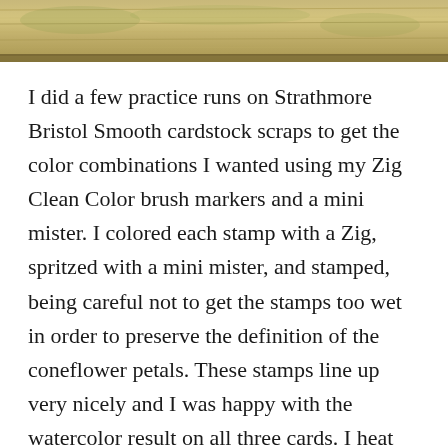[Figure (photo): A top banner image showing a weathered wooden surface with golden-tan and greenish tones, with a horizontal board/plank texture across the top of the page.]
I did a few practice runs on Strathmore Bristol Smooth cardstock scraps to get the color combinations I wanted using my Zig Clean Color brush markers and a mini mister. I colored each stamp with a Zig, spritzed with a mini mister, and stamped, being careful not to get the stamps too wet in order to preserve the definition of the coneflower petals. These stamps line up very nicely and I was happy with the watercolor result on all three cards. I heat set the coneflowers once they were stamped, and then ‘washed’ light blue over the backgrounds using distress ink and a waterbrush. I used gold and silver Venicelux